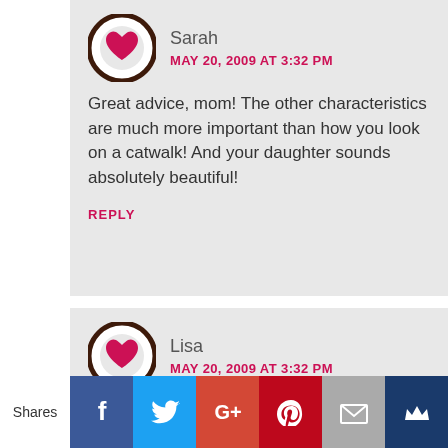Sarah
MAY 20, 2009 AT 3:32 PM
Great advice, mom! The other characteristics are much more important than how you look on a catwalk! And your daughter sounds absolutely beautiful!
REPLY
Lisa
MAY 20, 2009 AT 3:32 PM
It is very difficult to teach our daughters to be happy with their bodies when we are in this kind of
Shares